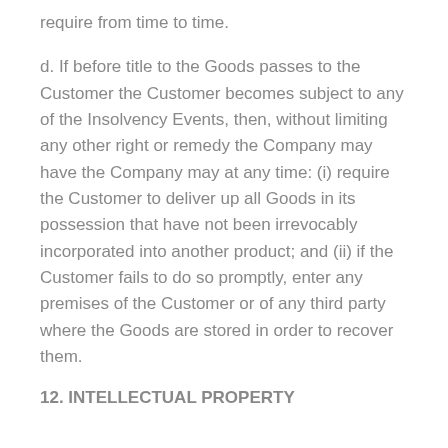require from time to time.
d. If before title to the Goods passes to the Customer the Customer becomes subject to any of the Insolvency Events, then, without limiting any other right or remedy the Company may have the Company may at any time: (i) require the Customer to deliver up all Goods in its possession that have not been irrevocably incorporated into another product; and (ii) if the Customer fails to do so promptly, enter any premises of the Customer or of any third party where the Goods are stored in order to recover them.
12. INTELLECTUAL PROPERTY